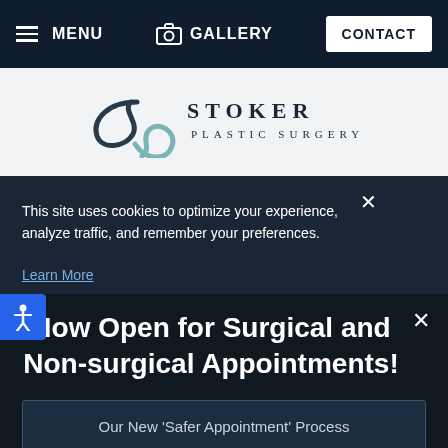MENU   GALLERY   CONTACT
[Figure (logo): Stoker Plastic Surgery logo with stylized 'S' monogram and serif wordmark]
This site uses cookies to optimize your experience, analyze traffic, and remember your preferences.
Learn More
Now Open for Surgical and Non-surgical Appointments!
Our New 'Safer Appointment' Process
Virtual Consultations Still Available